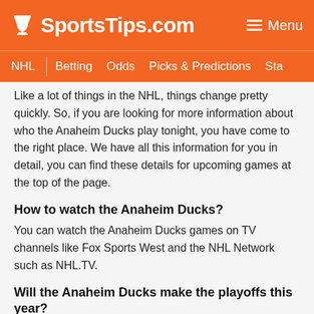SportsTips.com | Menu
NHL | Betting | Odds | Picks & Predictions | Sta…
Like a lot of things in the NHL, things change pretty quickly. So, if you are looking for more information about who the Anaheim Ducks play tonight, you have come to the right place. We have all this information for you in detail, you can find these details for upcoming games at the top of the page.
How to watch the Anaheim Ducks?
You can watch the Anaheim Ducks games on TV channels like Fox Sports West and the NHL Network such as NHL.TV.
Will the Anaheim Ducks make the playoffs this year?
While we do not yet know if the Anaheim Ducks will make the playoffs this year, they did not make the…